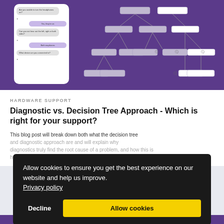[Figure (screenshot): Purple background screenshot showing a phone mockup with chat bubbles on the left and a decision tree diagram on the right]
HARDWARE SUPPORT
Diagnostic vs. Decision Tree Approach - Which is right for your support?
This blog post will break down both what the decision tree and diagnostic approach are and will explain why diagnostics truly find the root cause of a problem, and how this is helping truly resolve customers issues.
[Figure (screenshot): Cookie consent banner overlay with dark background reading: Allow cookies to ensure you get the best experience on our website and help us improve. Privacy policy. With Decline and Allow cookies buttons.]